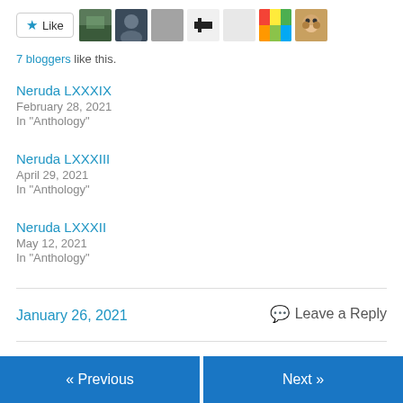[Figure (other): Like button with star icon followed by 7 avatar thumbnail images of bloggers]
7 bloggers like this.
Neruda LXXXIX
February 28, 2021
In "Anthology"
Neruda LXXXIII
April 29, 2021
In "Anthology"
Neruda LXXXII
May 12, 2021
In "Anthology"
January 26, 2021
Leave a Reply
« Previous
Next »